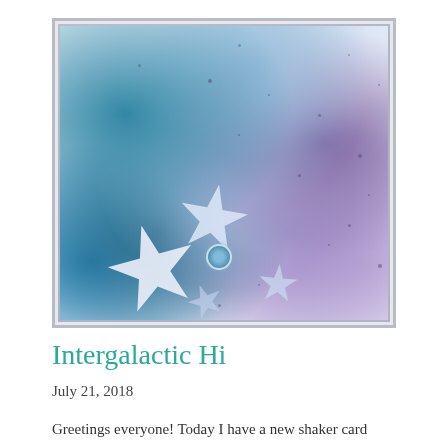[Figure (photo): A shaker card with a galaxy/space watercolor background in blues, purples, and teals, with white foam star embellishments and a small gem/flower accent, photographed in a plastic sleeve]
Intergalactic Hi
July 21, 2018
Greetings everyone! Today I have a new shaker card